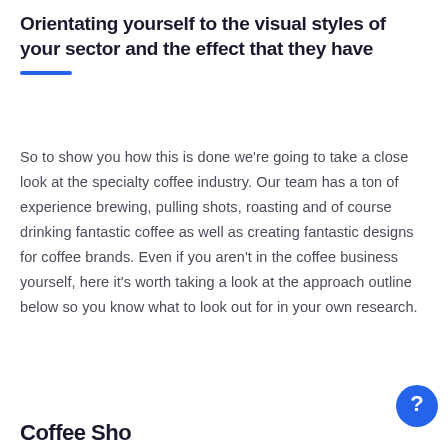Orientating yourself to the visual styles of your sector and the effect that they have
So to show you how this is done we're going to take a close look at the specialty coffee industry. Our team has a ton of experience brewing, pulling shots, roasting and of course drinking fantastic coffee as well as creating fantastic designs for coffee brands. Even if you aren't in the coffee business yourself, here it's worth taking a look at the approach outline below so you know what to look out for in your own research.
Coffee Sho...